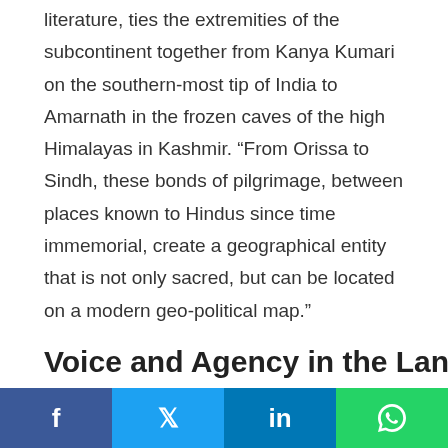literature, ties the extremities of the subcontinent together from Kanya Kumari on the southern-most tip of India to Amarnath in the frozen caves of the high Himalayas in Kashmir. “From Orissa to Sindh, these bonds of pilgrimage, between places known to Hindus since time immemorial, create a geographical entity that is not only sacred, but can be located on a modern geo-political map.”
Voice and Agency in the Land